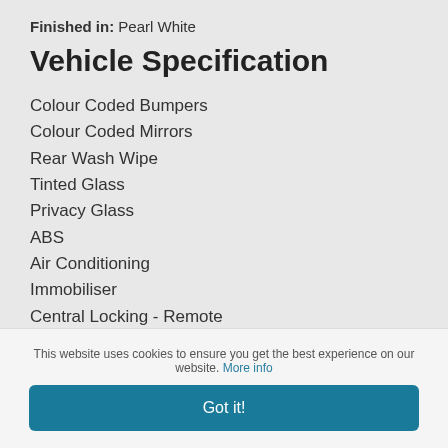Finished in: Pearl White
Vehicle Specification
Colour Coded Bumpers
Colour Coded Mirrors
Rear Wash Wipe
Tinted Glass
Privacy Glass
ABS
Air Conditioning
Immobiliser
Central Locking - Remote
Climate Control
Driver Airbag
Passenger Airbag
Electric Mirrors
Electric Windows
Park Distance Control
Power Assisted Steering
This website uses cookies to ensure you get the best experience on our website. More info
Got it!